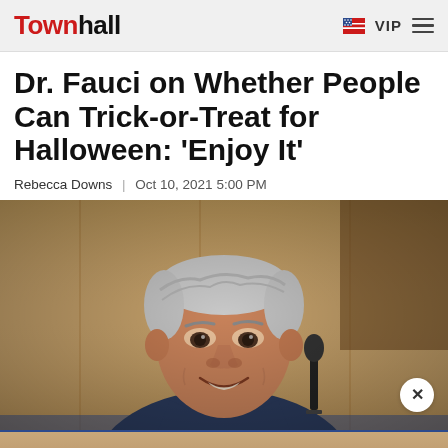Townhall | VIP
Dr. Fauci on Whether People Can Trick-or-Treat for Halloween: 'Enjoy It'
Rebecca Downs | Oct 10, 2021 5:00 PM
[Figure (photo): Dr. Anthony Fauci smiling, seated at a hearing table with a microphone, wearing a dark suit and tie, in front of wood-paneled background]